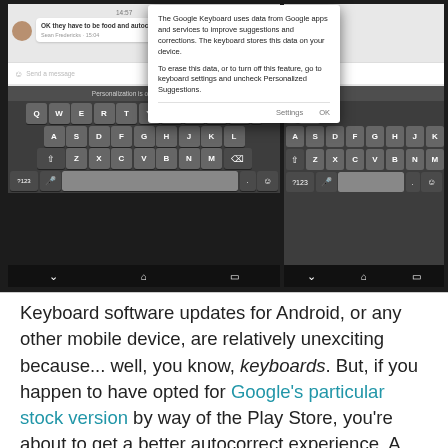[Figure (screenshot): Screenshot of Android Google Keyboard showing a chat conversation with a dialog box explaining Personalized Suggestions data usage. The dialog reads: 'The Google Keyboard uses data from Google apps and services to improve suggestions and corrections. The keyboard stores this data on your device. To erase this data, or to turn off this feature, go to keyboard settings and uncheck Personalized Suggestions.' with Settings and OK buttons. The keyboard shows QWERTY layout with 'Personalization is on. Touch for info.' above the keys.]
Keyboard software updates for Android, or any other mobile device, are relatively unexciting because... well, you know, keyboards. But, if you happen to have opted for Google's particular stock version by way of the Play Store, you're about to get a better autocorrect experience. A new update that's currently rolling out introduces the option for Personalized Suggestions, meaning the app can mine data